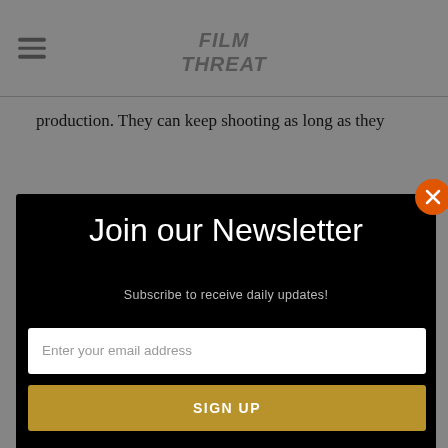Film Threat
production. They can keep shooting as long as they
Join our Newsletter
Subscribe to receive daily updates!
Enter your email address
SIGN UP
Back to the tale of bowling. CineVegas bowling is serious stuff. There are little bowling bobblehead dolls that are given out as awards (Erik Childress won high